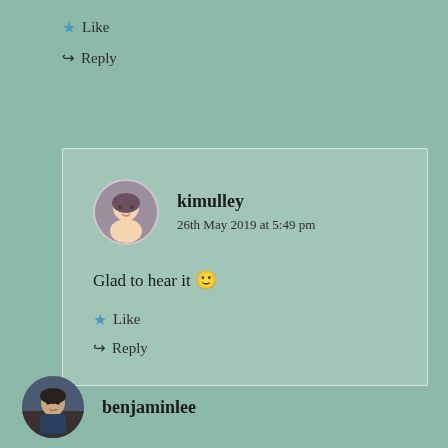★ Like
↪ Reply
kimulley
26th May 2019 at 5:49 pm
Glad to hear it 🙂
★ Like
↪ Reply
benjaminlee